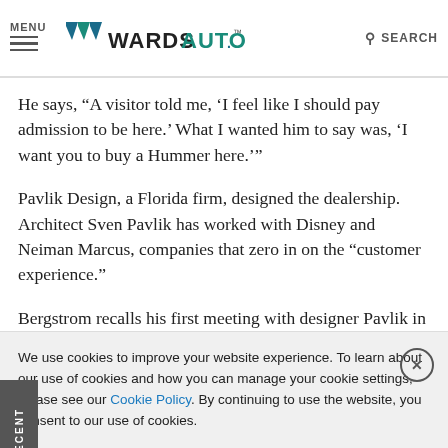MENU | WardsAuto | SEARCH
He says, “A visitor told me, ‘I feel like I should pay admission to be here.’ What I wanted him to say was, ‘I want you to buy a Hummer here.’”
Pavlik Design, a Florida firm, designed the dealership. Architect Sven Pavlik has worked with Disney and Neiman Marcus, companies that zero in on the “customer experience.”
Bergstrom recalls his first meeting with designer Pavlik in Fort Lauderdale:
We use cookies to improve your website experience. To learn about our use of cookies and how you can manage your cookie settings, please see our Cookie Policy. By continuing to use the website, you consent to our use of cookies.